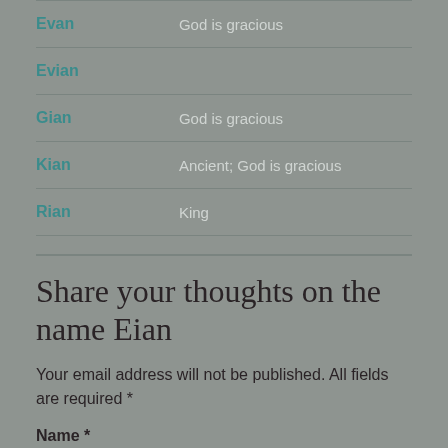| Name | Meaning |
| --- | --- |
| Evan | God is gracious |
| Evian |  |
| Gian | God is gracious |
| Kian | Ancient; God is gracious |
| Rian | King |
Share your thoughts on the name Eian
Your email address will not be published. All fields are required *
Name *